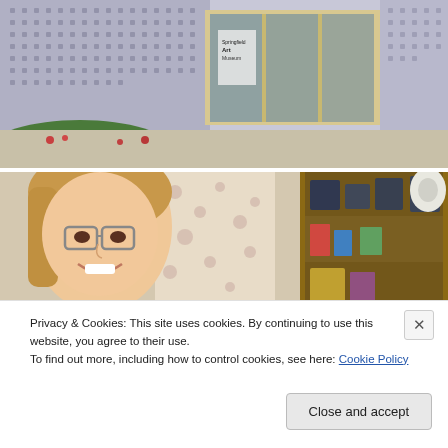[Figure (photo): Exterior of a building with glass doors and block wall facade, showing a sign reading 'Springfield Art Museum'. The photo is taken at an angle showing the entrance with signage on the door.]
[Figure (photo): A smiling young woman with glasses and blonde hair, standing in front of a floral background. To her right is an open cabinet/closet with various items including what appears to be bags and a roll of paper towels.]
Privacy & Cookies: This site uses cookies. By continuing to use this website, you agree to their use.
To find out more, including how to control cookies, see here: Cookie Policy
Close and accept